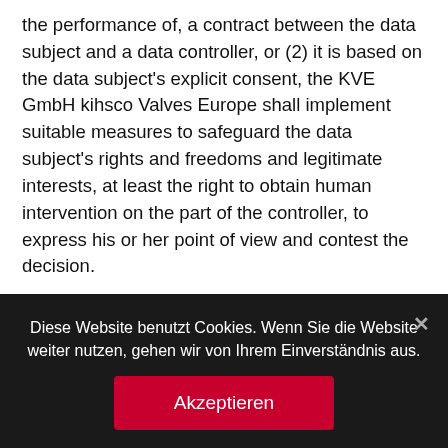the performance of, a contract between the data subject and a data controller, or (2) it is based on the data subject's explicit consent, the KVE GmbH kihsco Valves Europe shall implement suitable measures to safeguard the data subject's rights and freedoms and legitimate interests, at least the right to obtain human intervention on the part of the controller, to express his or her point of view and contest the decision.

If the data subject wishes to exercise the rights concerning automated individual decision-making, he or she may, at any time, contact any employee of the KVE GmbH kihsco Valves Europe...
Diese Website benutzt Cookies. Wenn Sie die Website weiter nutzen, gehen wir von Ihrem Einverständnis aus.
Akzeptieren